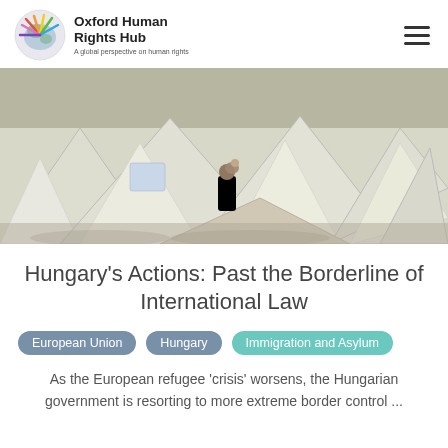Oxford Human Rights Hub — A global perspective on human rights
[Figure (photo): A refugee camp scene with rows of white canvas tents. A person holding a child stands between tents in the background.]
Hungary's Actions: Past the Borderline of International Law
European Union
Hungary
Immigration and Asylum
As the European refugee 'crisis' worsens, the Hungarian government is resorting to more extreme border control ...